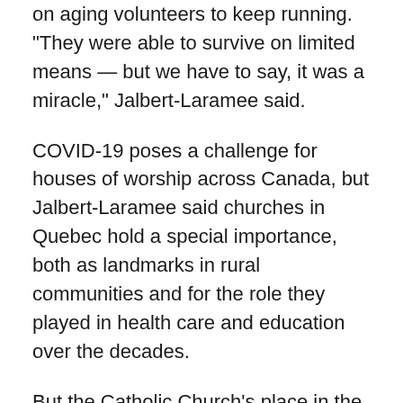on aging volunteers to keep running. "They were able to survive on limited means — but we have to say, it was a miracle," Jalbert-Laramee said.
COVID-19 poses a challenge for houses of worship across Canada, but Jalbert-Laramee said churches in Quebec hold a special importance, both as landmarks in rural communities and for the role they played in health care and education over the decades.
But the Catholic Church's place in the daily lives of Quebecers has been in decline for years. According to the 2011 National Household Survey, nearly 75 per cent of Quebecers identified as Catholic. But fewer than 1 in 10 said they often attended religious services — the lowest rate in Canada, according to a Leger poll conducted in May 2019.